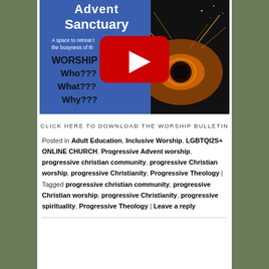[Figure (screenshot): YouTube video thumbnail for 'Advent Sanctuary' showing a blue panel with text 'Advent Sanctuary / A space to retreat to... the busyness of th...' and 'WORSHIP / Who??? / What??? / Why???' with a YouTube play button overlay, alongside a dark image of fire/light art on the right.]
CLICK HERE TO DOWNLOAD THE WORSHIP BULLETIN
Posted in Adult Education, Inclusive Worship, LGBTQI2S+ ONLINE CHURCH, Progressive Advent worship, progressive christian community, progressive Christian worship, progressive Christianity, Progressive Theology | Tagged progressive christian community, progressive Christian worship, progressive Christianity, progressive spirituality, Progressive Theology | Leave a reply